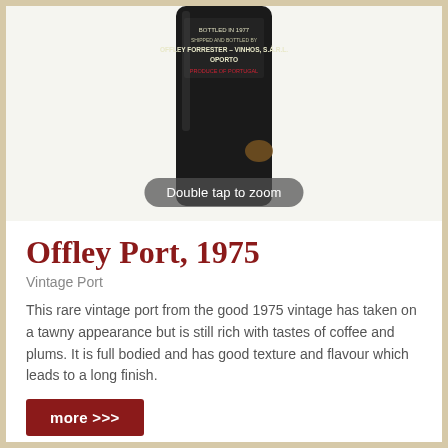[Figure (photo): Photo of a dark bottle of Offley Port 1975 with label reading 'Bottled in 1977, Shipped and Bottled by Offley Forrester – Vinhos, S.A.R.L., Oporto, Produce of Portugal'. A 'Double tap to zoom' badge is overlaid at the bottom of the image.]
Offley Port, 1975
Vintage Port
This rare vintage port from the good 1975 vintage has taken on a tawny appearance but is still rich with tastes of coffee and plums. It is full bodied and has good texture and flavour which leads to a long finish.
more >>>
Price: $120.71 USD
Stock: 1 in Stock